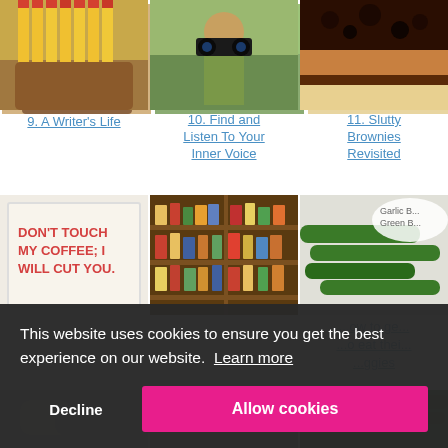[Figure (photo): Cup of yellow pencils with red erasers]
9. A Writer's Life
[Figure (photo): Child looking through binoculars outdoors]
10. Find and Listen To Your Inner Voice
[Figure (photo): Chocolate brownie slice close-up]
11. Slutty Brownies Revisited
[Figure (photo): Sign reading DON'T TOUCH MY COFFEE; I WILL CUT YOU.]
[Figure (photo): Wooden pantry shelves filled with canned goods and bottles]
[Figure (photo): Green vegetables with label 'Garlic B... Green B...' and text about how to get kids to eat their veggies]
[Figure (photo): Shoes at bottom of page, partially visible]
[Figure (photo): Bottom center image, partially visible]
[Figure (photo): Green vegetables bottom right, partially visible]
This website uses cookies to ensure you get the best experience on our website.
Learn more
Decline
Allow cookies